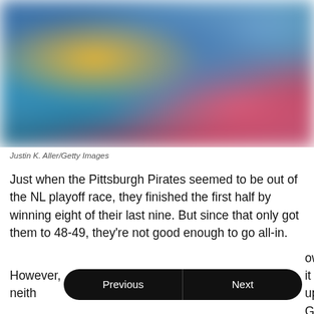[Figure (photo): Blurred sports photograph with blue, yellow, teal, and pink/red tones, likely a baseball game scene.]
Justin K. Aller/Getty Images
Just when the Pittsburgh Pirates seemed to be out of the NL playoff race, they finished the first half by winning eight of their last nine. But since that only got them to 48-49, they're not good enough to go all-in.
However, neither [Previous] [Next] ow it up. GM Neal Huntington was in the right when he said, per Tim